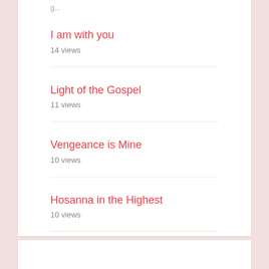I am with you
14 views
Light of the Gospel
11 views
Vengeance is Mine
10 views
Hosanna in the Highest
10 views
Sing Praise to You
10 views